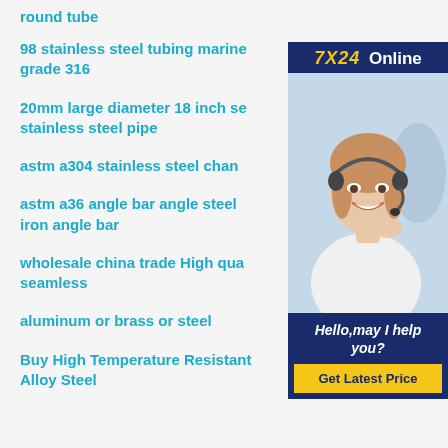round tube
98 stainless steel tubing marine grade 316
20mm large diameter 18 inch seamless stainless steel pipe
astm a304 stainless steel channel
astm a36 angle bar angle steel iron angle bar
wholesale china trade High quality seamless
aluminum or brass or steel
Buy High Temperature Resistant Alloy Steel
[Figure (other): Online customer support chat widget with '7X24 Online' header in navy blue and gold, photo of a smiling woman with a headset, text 'Hello, may I help you?' and a 'Get Latest Price' button]